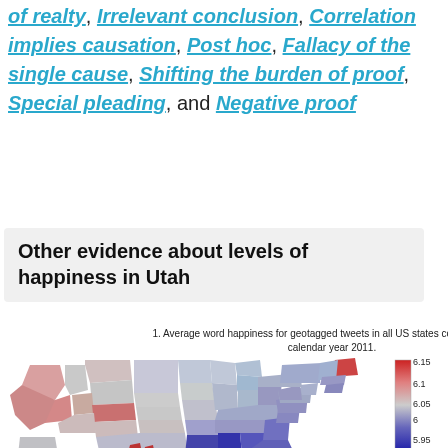of realty, Irrelevant conclusion, Correlation implies causation, Post hoc, Fallacy of the single cause, Shifting the burden of proof, Special pleading, and Negative proof
Other evidence about levels of happiness in Utah
1. Average word happiness for geotagged tweets in all US states collected during calendar year 2011.
[Figure (map): Choropleth map of the United States showing average word happiness for geotagged tweets in all US states collected during calendar year 2011. States in the west (Nevada, Colorado, etc.) appear red/pink (higher happiness ~6.15), while southeastern states (Louisiana, Mississippi) appear dark blue (lower happiness ~5.95). A color scale bar on the right shows values from 5.95 (blue) to 6.15 (red) with intermediate values 6, 6.05, 6.1 labeled.]